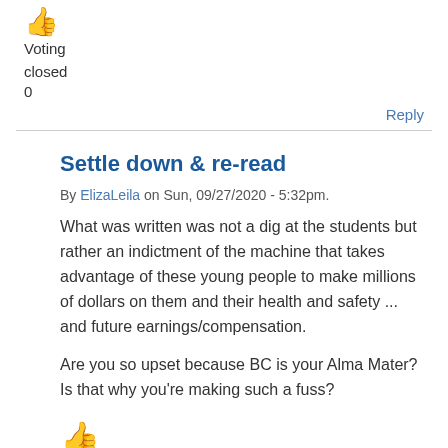👍
Voting
closed
0
Reply
Settle down & re-read
By ElizaLeila on Sun, 09/27/2020 - 5:32pm.
What was written was not a dig at the students but rather an indictment of the machine that takes advantage of these young people to make millions of dollars on them and their health and safety ... and future earnings/compensation.
Are you so upset because BC is your Alma Mater? Is that why you're making such a fuss?
[Figure (illustration): Thumbs up emoji icon partially visible at bottom]